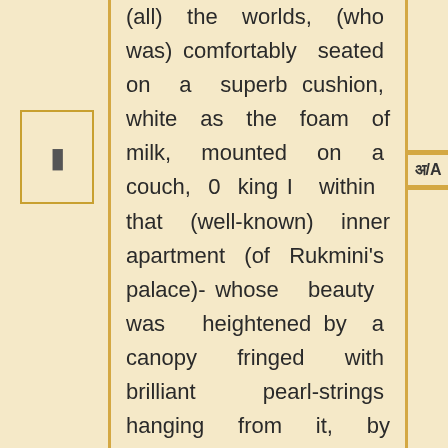(all) the worlds, (who was) comfortably seated on a superb cushion, white as the foam of milk, mounted on a couch, 0 king I within that (well-known) inner apartment (of Rukmini's palace)- whose beauty was heightened by a canopy fringed with brilliant pearl-strings hanging from it, by gems serving as lights, by flowers and garlands of jasmines resonant with the humming of black bees, and by silvery rays of the moon that had penetrated into it through eye-holes of latticed windows-(nay,) which was fanned by breezes blowing